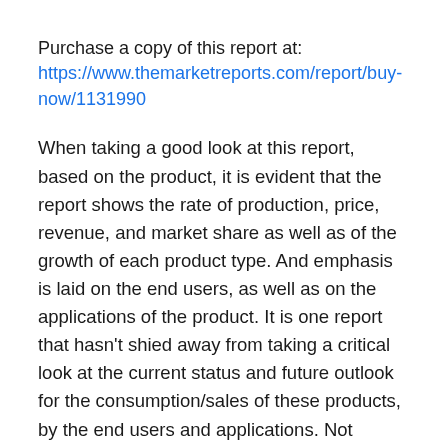Purchase a copy of this report at:
https://www.themarketreports.com/report/buy-now/1131990
When taking a good look at this report, based on the product, it is evident that the report shows the rate of production, price, revenue, and market share as well as of the growth of each product type. And emphasis is laid on the end users, as well as on the applications of the product. It is one report that hasn't shied away from taking a critical look at the current status and future outlook for the consumption/sales of these products, by the end users and applications. Not forgetting the market share control and growth rate of Polyurea Coatings Industry, per application.